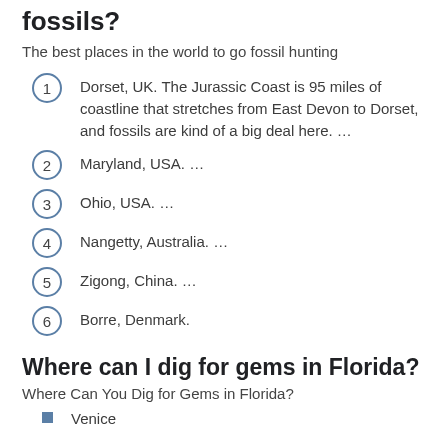fossils?
The best places in the world to go fossil hunting
Dorset, UK. The Jurassic Coast is 95 miles of coastline that stretches from East Devon to Dorset, and fossils are kind of a big deal here. …
Maryland, USA. …
Ohio, USA. …
Nangetty, Australia. …
Zigong, China. …
Borre, Denmark.
Where can I dig for gems in Florida?
Where Can You Dig for Gems in Florida?
Venice